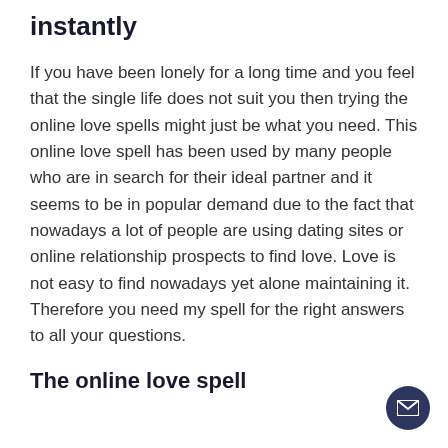instantly
If you have been lonely for a long time and you feel that the single life does not suit you then trying the online love spells might just be what you need. This online love spell has been used by many people who are in search for their ideal partner and it seems to be in popular demand due to the fact that nowadays a lot of people are using dating sites or online relationship prospects to find love. Love is not easy to find nowadays yet alone maintaining it. Therefore you need my spell for the right answers to all your questions.
The online love spell...